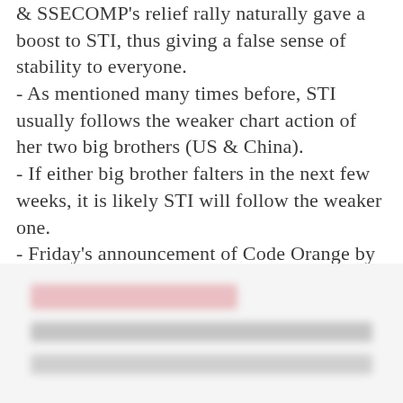& SSECOMP's relief rally naturally gave a boost to STI, thus giving a false sense of stability to everyone.
- As mentioned many times before, STI usually follows the weaker chart action of her two big brothers (US & China).
- If either big brother falters in the next few weeks, it is likely STI will follow the weaker one.
- Friday's announcement of Code Orange by Singapore's Ministry of Health will likely suck out any false sense of bullishness left.
[Figure (other): Blurred/redacted image block at the bottom of the page, appears to contain text or a form with a pink/red header bar and grey content rows.]